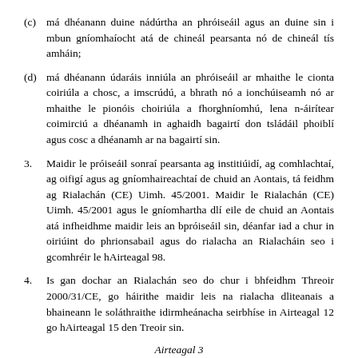(c)má dhéanann duine nádúrtha an phróiseáil agus an duine sin i mbun gníomhaíocht atá de chineál pearsanta nó de chineál tís amháin;
(d)má dhéanann údaráis inniúla an phróiseáil ar mhaithe le cionta coiriúla a chosc, a imscrúdú, a bhrath nó a ionchúiseamh nó ar mhaithe le pionóis choiriúla a fhorghníomhú, lena n-áirítear coimirciú a dhéanamh in aghaidh bagairtí don tsládáil phoiblí agus cosc a dhéanamh ar na bagairtí sin.
3.	Maidir le próiseáil sonraí pearsanta ag institiúidí, ag comhlachtaí, ag oifigí agus ag gníomhaireachtaí de chuid an Aontais, tá feidhm ag Rialachán (CE) Uimh. 45/2001. Maidir le Rialachán (CE) Uimh. 45/2001 agus le gníomhartha dlí eile de chuid an Aontais atá infheidhme maidir leis an bpróiseáil sin, déanfar iad a chur in oiriúint do phrionsabail agus do rialacha an Rialacháin seo i gcomhréir le hAirteagal 98.
4.	Is gan dochar an Rialachán seo do chur i bhfeidhm Threoir 2000/31/CE, go háirithe maidir leis na rialacha dliteanais a bhaineann le soláthraithe idirmheánacha seirbhíse in Airteagal 12 go hAirteagal 15 den Treoir sin.
Airteagal 3